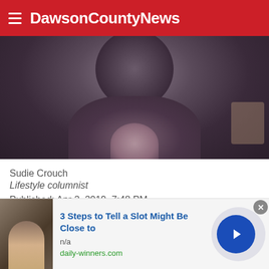DawsonCountyNews
[Figure (photo): Blurry close-up photo of a person, appearing to be a woman with dark hair wearing a dark cardigan over a patterned top, cropped tightly with face not visible]
Sudie Crouch
Lifestyle columnist
Published: Apr 2, 2019, 7:48 PM
[Figure (infographic): Social media sharing icons: Facebook, Twitter, Pinterest]
[Figure (infographic): Advertisement banner: '3 Steps to Tell a Slot Might Be Close to' with thumbnail image, n/a, daily-winners.com, close button X, and forward arrow button]